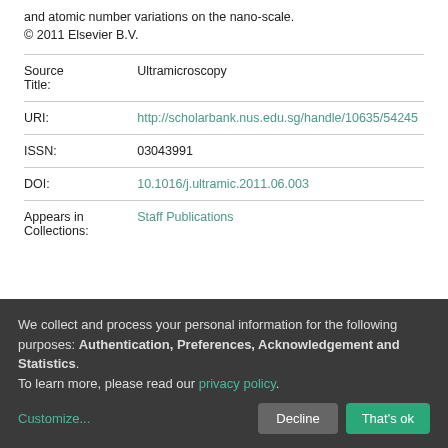and atomic number variations on the nano-scale. © 2011 Elsevier B.V.
| Field | Value |
| --- | --- |
| Source Title: | Ultramicroscopy |
| URI: | http://scholarbank.nus.edu.sg/handle/10635/54245 |
| ISSN: | 03043991 |
| DOI: | 10.1016/j.ultramic.2011.06.003 |
| Appears in Collections: | Staff Publications |
Show full item record
We collect and process your personal information for the following purposes: Authentication, Preferences, Acknowledgement and Statistics. To learn more, please read our privacy policy.
Customize... Decline That's ok